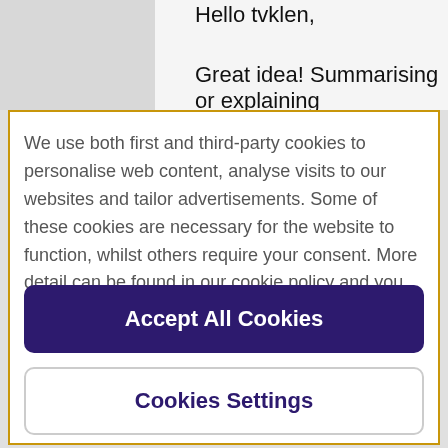Hello tvklen,
Great idea! Summarising or explaining
We use both first and third-party cookies to personalise web content, analyse visits to our websites and tailor advertisements. Some of these cookies are necessary for the website to function, whilst others require your consent. More detail can be found in our cookie policy and you can tailor your choices in the preference centre.
Accept All Cookies
Cookies Settings